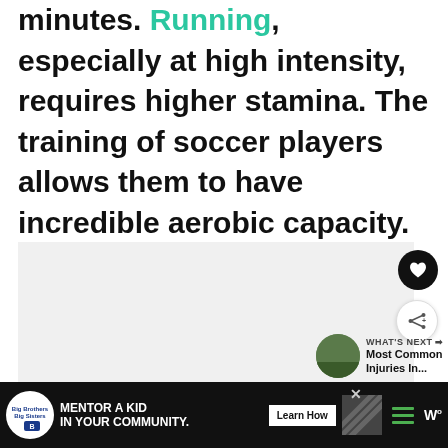minutes. Running, especially at high intensity, requires higher stamina. The training of soccer players allows them to have incredible aerobic capacity.
[Figure (other): Light gray rectangular image placeholder area with heart (favorite) and share buttons on the right side]
WHAT'S NEXT → Most Common Injuries In...
[Figure (infographic): Advertisement bar: Big Brothers Big Sisters logo, MENTOR A KID IN YOUR COMMUNITY. Learn How button, diagonal stripe pattern, menu icon, W° logo]